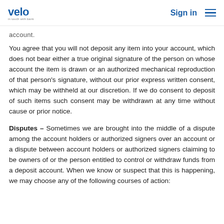velo | Sign in
account.
You agree that you will not deposit any item into your account, which does not bear either a true original signature of the person on whose account the item is drawn or an authorized mechanical reproduction of that person’s signature, without our prior express written consent, which may be withheld at our discretion. If we do consent to deposit of such items such consent may be withdrawn at any time without cause or prior notice.
Disputes – Sometimes we are brought into the middle of a dispute among the account holders or authorized signers over an account or a dispute between account holders or authorized signers claiming to be owners of or the person entitled to control or withdraw funds from a deposit account. When we know or suspect that this is happening, we may choose any of the following courses of action: